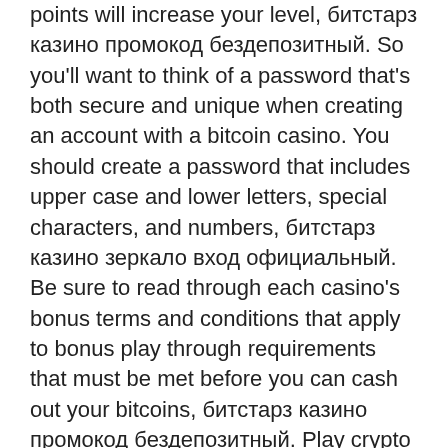points will increase your level, битстарз казино промокод бездепозитный. So you'll want to think of a password that's both secure and unique when creating an account with a bitcoin casino. You should create a password that includes upper case and lower letters, special characters, and numbers, битстарз казино зеркало вход официальный. Be sure to read through each casino's bonus terms and conditions that apply to bonus play through requirements that must be met before you can cash out your bitcoins, битстарз казино промокод бездепозитный. Play crypto gambling games at the best online gaming sites ranked by Gambling. Up to 5 BTC. DEPOSIT BONUS WAGER REQ, битстарз казино промокод бездепозитный. If you play at a Bitcoin casino in BTC, the volatility only affects you when you exchange your coins back into a fiat currency, битстарз казино официальный сайт bitstarz casino